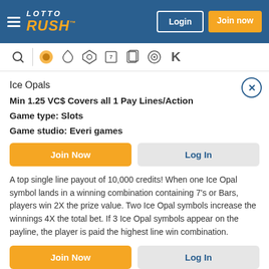Lotto Rush — Login | Join now
Ice Opals
Min 1.25 VC$ Covers all 1 Pay Lines/Action
Game type: Slots
Game studio: Everi games
A top single line payout of 10,000 credits! When one Ice Opal symbol lands in a winning combination containing 7's or Bars, players win 2X the prize value. Two Ice Opal symbols increase the winnings 4X the total bet. If 3 Ice Opal symbols appear on the payline, the player is paid the highest line win combination.
Live Dealer